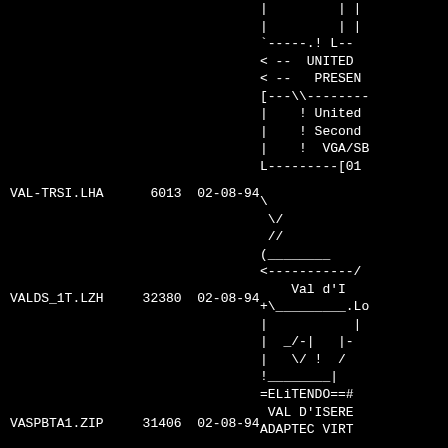[Figure (other): ASCII art diagram showing directory/file tree structure with lines, arrows, and decorative text. Contains references to UNITED, PRESEN, United, Second, VGA/SB, [01, Val d'I, =ELiTENDO==#, VAL D'ISERE, ADAPTEC VIRT]
VAL-TRSI.LHA      6013  02-08-94
VALDS_1T.LZH     32380  02-08-94
VASPBTA1.ZIP     31406  02-08-94  ADAPTEC VIRT